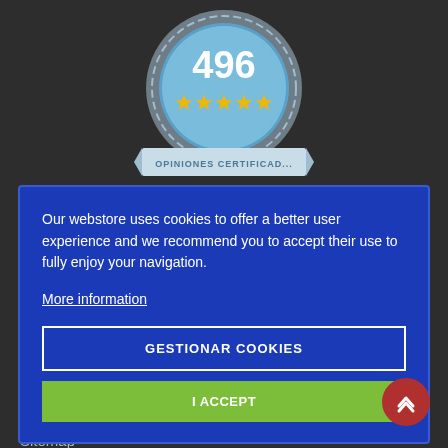[Figure (infographic): Certification badge with number 496, five gold stars, and text OPINIONES CERTIFICAD (truncated)]
Our webstore uses cookies to offer a better user experience and we recommend you to accept their use to fully enjoy your navigation.
More information
GESTIONAR COOKIES
I ACCEPT
INFORMATION
Shipping cost
Frequent Questions
Specials
Sitemap